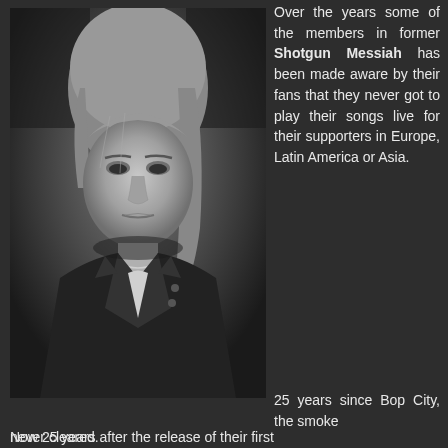[Figure (photo): Black and white portrait photo of a person with medium-length hair wearing a black leather jacket and white t-shirt, looking directly at camera with a serious expression]
Over the years some of the members in former Shotgun Messiah has been made aware by their fans that they never got to play their songs live for their supporters in Europe, Latin America or Asia.

25 years since Bop City, the smoke never cleared.
Now 25 years after the release of their first